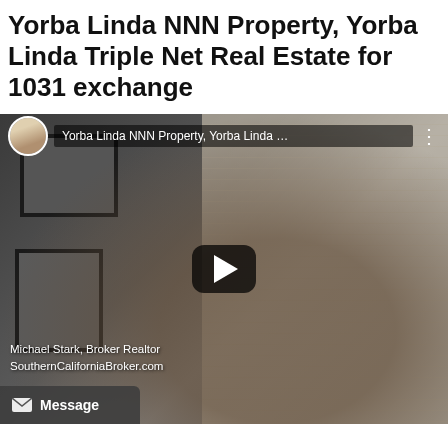Yorba Linda NNN Property, Yorba Linda Triple Net Real Estate for 1031 exchange
[Figure (screenshot): YouTube video thumbnail showing a man (Michael Stark, Broker Realtor, SouthernCaliforniaBroker.com) seated in front of window blinds and framed pictures on the wall. Video title bar reads 'Yorba Linda NNN Property, Yorba Linda …'. A play button is centered on the video. A 'Message' button appears at the bottom left.]